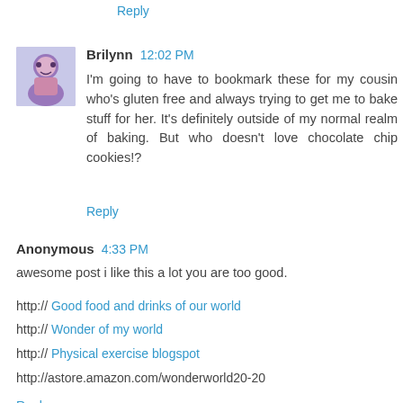Reply
Brilynn  12:02 PM
I'm going to have to bookmark these for my cousin who's gluten free and always trying to get me to bake stuff for her. It's definitely outside of my normal realm of baking. But who doesn't love chocolate chip cookies!?
Reply
Anonymous  4:33 PM
awesome post i like this a lot you are too good.

http:// Good food and drinks of our world
http:// Wonder of my world
http:// Physical exercise blogspot
http://astore.amazon.com/wonderworld20-20
Reply